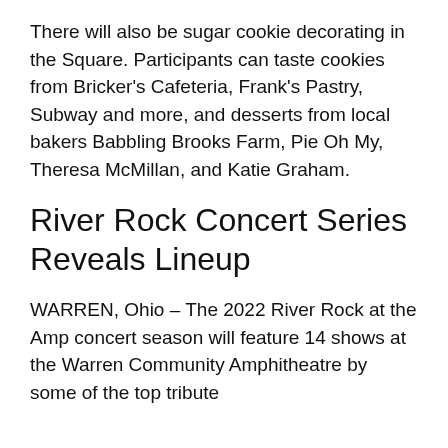There will also be sugar cookie decorating in the Square. Participants can taste cookies from Bricker's Cafeteria, Frank's Pastry, Subway and more, and desserts from local bakers Babbling Brooks Farm, Pie Oh My, Theresa McMillan, and Katie Graham.
River Rock Concert Series Reveals Lineup
WARREN, Ohio – The 2022 River Rock at the Amp concert season will feature 14 shows at the Warren Community Amphitheatre by some of the top tribute